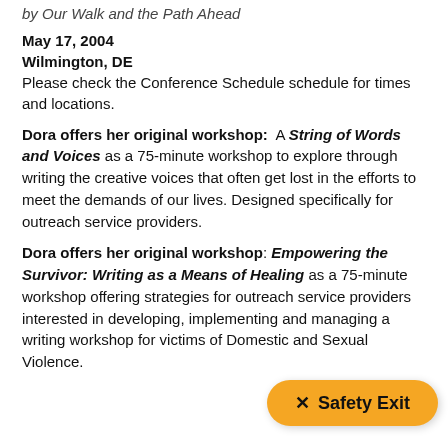by Our Walk and the Path Ahead
May 17, 2004
Wilmington, DE
Please check the Conference Schedule schedule for times and locations.
Dora offers her original workshop:  A String of Words and Voices as a 75-minute workshop to explore through writing the creative voices that often get lost in the efforts to meet the demands of our lives. Designed specifically for outreach service providers.
Dora offers her original workshop: Empowering the Survivor: Writing as a Means of Healing as a 75-minute workshop offering strategies for outreach service providers interested in developing, implementing and managing a writing workshop for victims of Domestic and Sexual Violence.